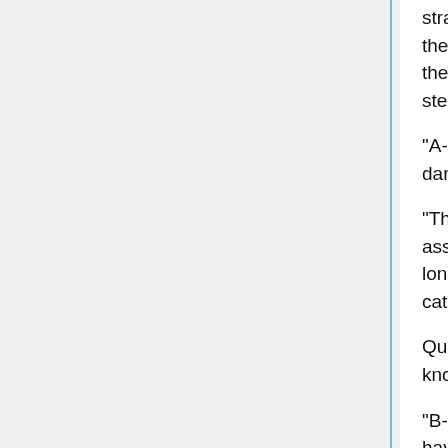straight forward. That’s because they don’t want to look up and have the rain cover their faces. After all, this isn’t any old rainwater. This is the filth that’s passed through the floors the other jailers have stepped on.”
“A-and they can’t tell a jailor from a prisoner if they’re walking in the dark?”
“They think the surveillance cameras are working properly, so they’ll assume everything is okay until they hear something from them. As long as we don’t press against the walls or crawl around, they won’t catch on.”
Quenser was of course not a specialist. He was giving all this knowledge secondhand.
“B-but won’t it seem weird that we’re walking together? And we don’t have